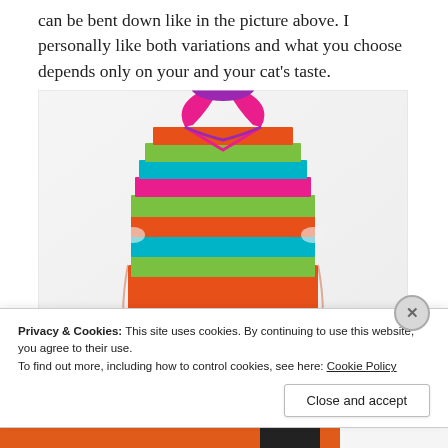can be bent down like in the picture above. I personally like both variations and what you choose depends only on your and your cat's taste.
[Figure (photo): A rainbow-striped knitted cat sweater laid flat on a white fluffy surface. The sweater shows vivid stripes of pink, purple, teal, green, orange, and yellow arranged horizontally.]
Privacy & Cookies: This site uses cookies. By continuing to use this website, you agree to their use.
To find out more, including how to control cookies, see here: Cookie Policy